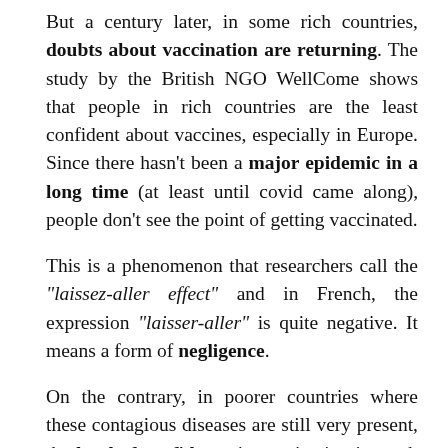But a century later, in some rich countries, doubts about vaccination are returning. The study by the British NGO WellCome shows that people in rich countries are the least confident about vaccines, especially in Europe. Since there hasn't been a major epidemic in a long time (at least until covid came along), people don't see the point of getting vaccinated.
This is a phenomenon that researchers call the "laissez-aller effect" and in French, the expression "laisser-aller" is quite negative. It means a form of negligence.
On the contrary, in poorer countries where these contagious diseases are still very present, the level of confidence in vaccination is much higher.
Even if you hear criticism of vaccines in rich countries, it's still quite marginal, except in France! But in fact, this is a recent trend that appeared about ten years ago. So now